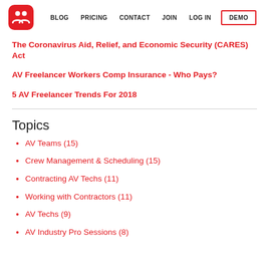BLOG  PRICING  CONTACT  JOIN  LOG IN  DEMO
The Coronavirus Aid, Relief, and Economic Security (CARES) Act
AV Freelancer Workers Comp Insurance - Who Pays?
5 AV Freelancer Trends For 2018
Topics
AV Teams (15)
Crew Management & Scheduling (15)
Contracting AV Techs (11)
Working with Contractors (11)
AV Techs (9)
AV Industry Pro Sessions (8)